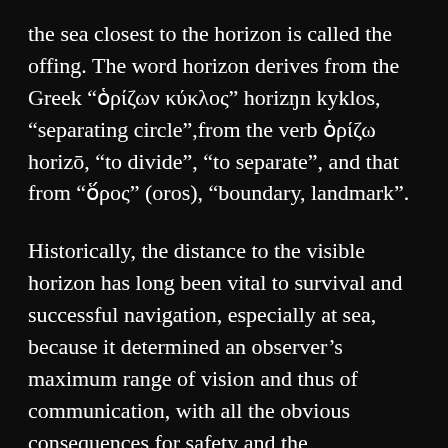the sea closest to the horizon is called the offing. The word horizon derives from the Greek “ὁρίζων κύκλος” horizŋn kyklos, “separating circle”,from the verb ὁρίζω horizō, “to divide”, “to separate”, and that from “ὅρος” (oros), “boundary, landmark”.
Historically, the distance to the visible horizon has long been vital to survival and successful navigation, especially at sea, because it determined an observer’s maximum range of vision and thus of communication, with all the obvious consequences for safety and the transmission of information that this range implied. This importance lessened with the development of the radio and the telegraph,